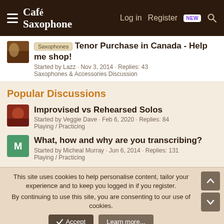Café Saxophone — Log in  Register  NEW
Saxophones  Tenor Purchase in Canada - Help me shop!
Started by Lazz · Nov 3, 2014 · Replies: 43
Saxophones & Accessories Discussion
Popular Discussions
Improvised vs Rehearsed Solos
Started by Veggie Dave · Feb 6, 2020 · Replies: 84
Playing / Practicing
What, how and why are you transcribing?
Started by Micheal Murray · Jun 6, 2014 · Replies: 131
Playing / Practicing
This site uses cookies to help personalise content, tailor your experience and to keep you logged in if you register.
By continuing to use this site, you are consenting to our use of cookies.